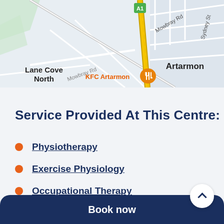[Figure (map): Street map showing Lane Cove North and Artarmon area, Sydney, with Mowbray Rd, A1 highway, Sydney St visible, and KFC Artarmon marked with an orange restaurant icon.]
Service Provided At This Centre:
Physiotherapy
Exercise Physiology
Occupational Therapy
Book now